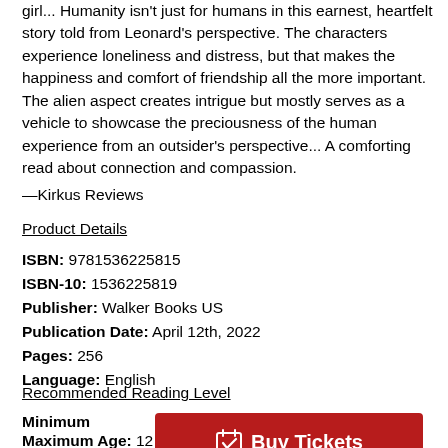girl... Humanity isn't just for humans in this earnest, heartfelt story told from Leonard's perspective. The characters experience loneliness and distress, but that makes the happiness and comfort of friendship all the more important. The alien aspect creates intrigue but mostly serves as a vehicle to showcase the preciousness of the human experience from an outsider's perspective... A comforting read about connection and compassion. —Kirkus Reviews
Product Details
ISBN: 9781536225815
ISBN-10: 1536225819
Publisher: Walker Books US
Publication Date: April 12th, 2022
Pages: 256
Language: English
Recommended Reading Level
Minimum Age:
[Figure (other): Red 'Buy Tickets' button with calendar/checkmark icon, overlaying part of the page content]
Maximum Age: 12